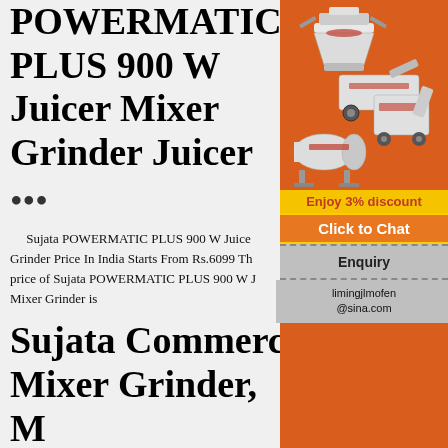POWERMATIC PLUS 900 W Juicer Mixer Grinder Juicer
...
Sujata POWERMATIC PLUS 900 W Juicer Mixer Grinder Price In India Starts From Rs.6099 The best price of Sujata POWERMATIC PLUS 900 W Juicer Mixer Grinder is
Sujata Commercial Mixer Grinder, More Than 1000 W, | ID...
Moksh Enterprises - Offering Sujata Commercial Mixer Grinder, More Than 1000 W in Delhi, Delhi. Get best price and read about company. Get contact details
[Figure (illustration): Orange advertisement panel showing industrial machinery (crushers/grinders), with 'Enjoy 3% discount', 'Click to Chat', 'Enquiry', and 'limingjlmofen@sina.com' text on orange and grey backgrounds]